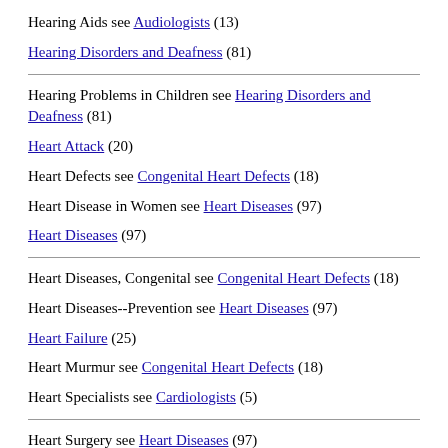Hearing Aids see Audiologists (13)
Hearing Disorders and Deafness (81)
Hearing Problems in Children see Hearing Disorders and Deafness (81)
Heart Attack (20)
Heart Defects see Congenital Heart Defects (18)
Heart Disease in Women see Heart Diseases (97)
Heart Diseases (97)
Heart Diseases, Congenital see Congenital Heart Defects (18)
Heart Diseases--Prevention see Heart Diseases (97)
Heart Failure (25)
Heart Murmur see Congenital Heart Defects (18)
Heart Specialists see Cardiologists (5)
Heart Surgery see Heart Diseases (97)